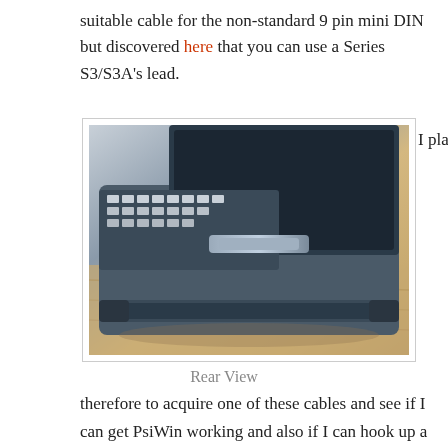suitable cable for the non-standard 9 pin mini DIN but discovered here that you can use a Series S3/S3A's lead.
[Figure (photo): Rear view of a Psion Series 3 PDA/organizer device showing the back hinge and keyboard area, placed on a wooden surface.]
I plan
Rear View
therefore to acquire one of these cables and see if I can get PsiWin working and also if I can hook up a modem.